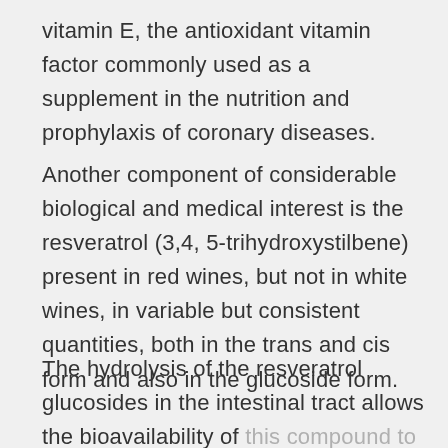vitamin E, the antioxidant vitamin factor commonly used as a supplement in the nutrition and prophylaxis of coronary diseases.
Another component of considerable biological and medical interest is the resveratrol (3,4, 5-trihydroxystilbene) present in red wines, but not in white wines, in variable but consistent quantities, both in the trans and cis form and also in the glucoside form.
The hydrolysis of the resveratrol glucosides in the intestinal tract allows the bioavailability of this compound to a much greater extent than previously thought. Resveratrol is synthesized by